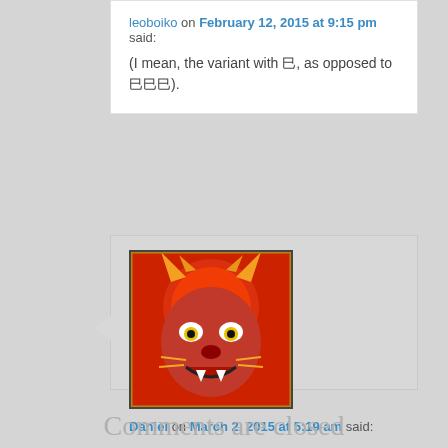leoboiko on February 12, 2015 at 9:15 pm said:
(I mean, the variant with 巳, as opposed to 巳巳巳).
[Figure (photo): Avatar image showing a colorful red dragon/demon face with golden horns against a red background]
Daniel on March 2, 2015 at 5:19 am said:
I returned to Narsh to pick up Edgar and am waiting for a good moment so I can sit down for an hour or so and take care of the opera. More FFVI posts soon, hopefully.

And I agree – 巳 makes it even cooler.
Comments are closed